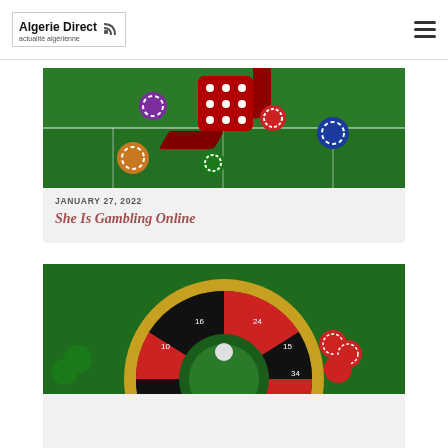Algerie Direct
[Figure (photo): Casino dice flying over a green craps table with colorful poker chips scattered around]
JANUARY 27, 2022
She Is Gambling Online
[Figure (photo): Roulette wheel with numbers on a green casino table with red and green poker chips surrounding it]